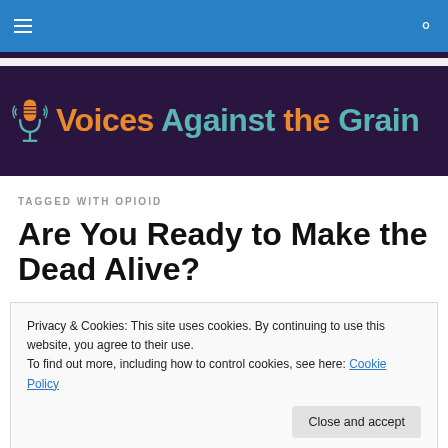Navigation bar with hamburger menu and search icon
[Figure (logo): Voices Against the Grain podcast logo with microphone icon on dark purple background]
TAGGED WITH OPIOID
Are You Ready to Make the Dead Alive?
Privacy & Cookies: This site uses cookies. By continuing to use this website, you agree to their use.
To find out more, including how to control cookies, see here: Cookie Policy
Close and accept